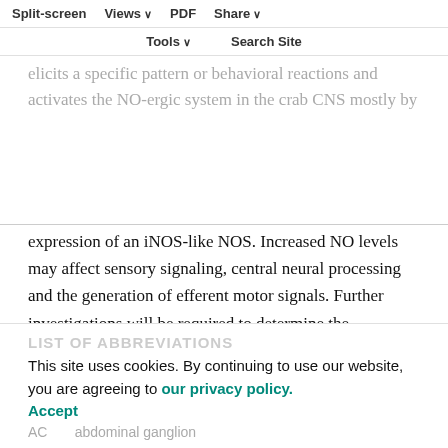The present results show that peripheral nociceptive injury elicits a specific pattern or behavioral reactions and activates the NO-ergic system in the crab CNS mostly by
expression of an iNOS-like NOS. Increased NO levels may affect sensory signaling, central neural processing and the generation of efferent motor signals. Further investigations will be required to determine the neurochemical mechanisms of pain-modulation systems in invertebrates and to elucidate whether injury-induced expression of iNOS-like activity in their CNS has both adverse and protective effects.
LIST OF ABBREVIATIONS
This site uses cookies. By continuing to use our website, you are agreeing to our privacy policy. Accept
AC    abdominal ganglion